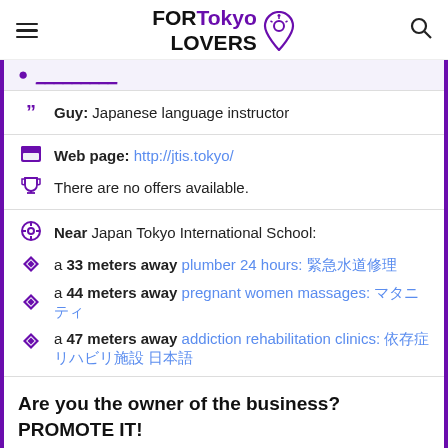FORTokyo LOVERS
Guy: Japanese language instructor
Web page: http://jtis.tokyo/
There are no offers available.
Near Japan Tokyo International School:
a 33 meters away plumber 24 hours: 日本語テキスト
a 44 meters away pregnant women massages: 日本語
a 47 meters away addiction rehabilitation clinics: 日本語テキスト 日本語
Are you the owner of the business? PROMOTE IT!